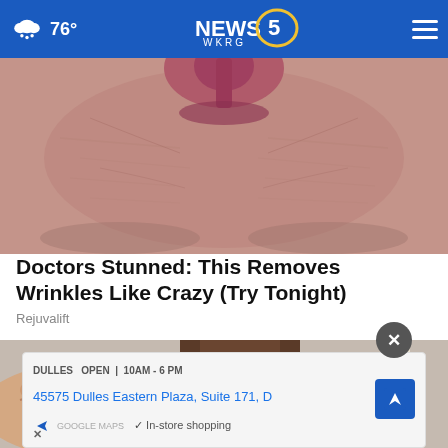76° NEWS 5 WKRG
[Figure (photo): Close-up macro photo of elderly person's lips and surrounding wrinkled skin]
Doctors Stunned: This Removes Wrinkles Like Crazy (Try Tonight)
Rejuvalift
[Figure (photo): Person writing or drawing with a red pencil, wallet visible, partially obscured by advertisement overlay]
OPEN 10AM-6PM
45575 Dulles Eastern Plaza, Suite 171, D
In-store shopping